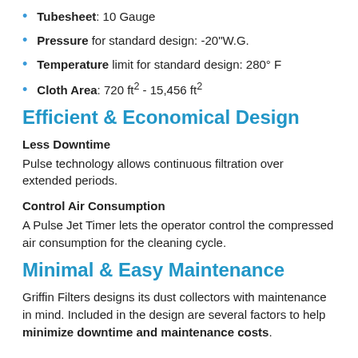Tubesheet: 10 Gauge
Pressure for standard design: -20"W.G.
Temperature limit for standard design: 280° F
Cloth Area: 720 ft² - 15,456 ft²
Efficient & Economical Design
Less Downtime
Pulse technology allows continuous filtration over extended periods.
Control Air Consumption
A Pulse Jet Timer lets the operator control the compressed air consumption for the cleaning cycle.
Minimal & Easy Maintenance
Griffin Filters designs its dust collectors with maintenance in mind. Included in the design are several factors to help minimize downtime and maintenance costs.